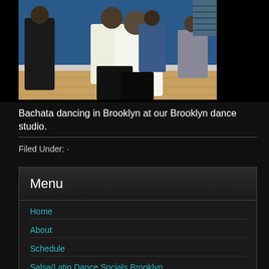[Figure (photo): People dancing bachata in a dance studio with blue walls and hardwood floors in Brooklyn]
Bachata dancing in Brooklyn at our Brooklyn dance studio.
Filed Under: ·
Menu
Home
About
Schedule
Salsa/Latin Dance Socials Brooklyn
Hustle Dance Party